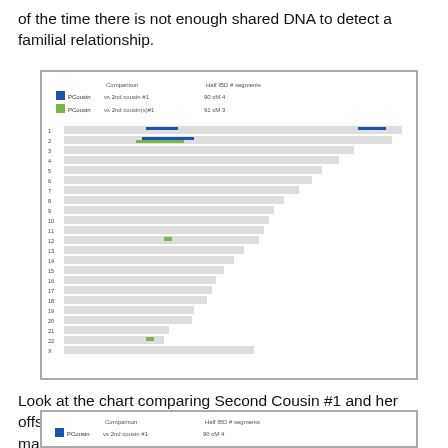of the time there is not enough shared DNA to detect a familial relationship.
[Figure (screenshot): A DNA chromosome browser comparison chart showing two PCousins vs 2nd cousins across 22 chromosomes plus X, with colored segments indicating shared DNA regions. Blue and green legend entries shown at top, with chromosome rows numbered 1-22 and X.]
Look at the chart comparing Second Cousin #1 and her offspring to PCousin. Do you see something that doesn’t make sense?
[Figure (screenshot): Partial view of another DNA chromosome browser comparison chart, showing PCousin vs 2nd cousin #1, partially cropped at bottom of page.]